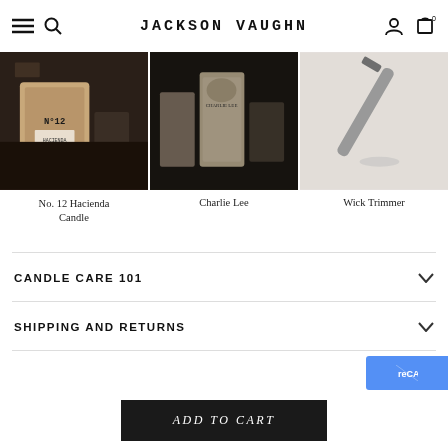Jackson Vaughn — navigation header with menu, search, account, and cart icons
[Figure (photo): Product photo: No. 12 Hacienda Candle — dark moody image of a candle jar labeled No 12 on a wooden surface]
No. 12 Hacienda Candle
[Figure (photo): Product photo: Charlie Lee — dark image of a bottle and accessories on a shelf]
Charlie Lee
[Figure (photo): Product photo: Wick Trimmer — close-up of a wick trimmer tool on a light surface]
Wick Trimmer
CANDLE CARE 101
SHIPPING AND RETURNS
ADD TO CART